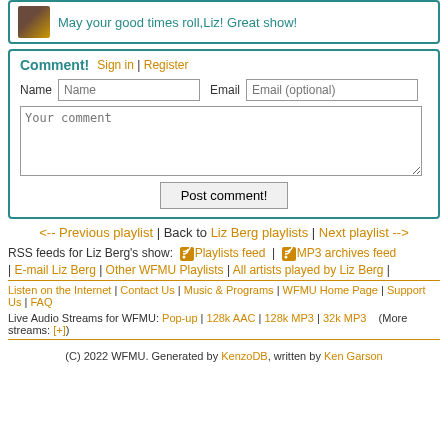May your good times roll,Liz! Great show!
Comment!
Sign in | Register
Name [Name input] Email [Email (optional) input]
Your comment [textarea]
Post comment! [button]
<-- Previous playlist | Back to Liz Berg playlists | Next playlist -->
RSS feeds for Liz Berg's show: Playlists feed | MP3 archives feed
| E-mail Liz Berg | Other WFMU Playlists | All artists played by Liz Berg |
Listen on the Internet | Contact Us | Music & Programs | WFMU Home Page | Support Us | FAQ
Live Audio Streams for WFMU: Pop-up | 128k AAC | 128k MP3 | 32k MP3   (More streams: [+])
(C) 2022 WFMU. Generated by KenzoDB, written by Ken Garson